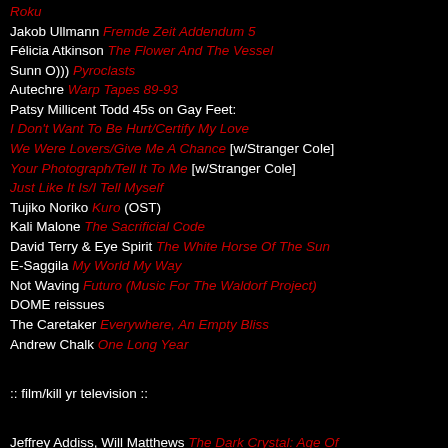Roku
Jakob Ullmann Fremde Zeit Addendum 5
Félicia Atkinson The Flower And The Vessel
Sunn O))) Pyroclasts
Autechre Warp Tapes 89-93
Patsy Millicent Todd 45s on Gay Feet:
I Don't Want To Be Hurt/Certify My Love
We Were Lovers/Give Me A Chance [w/Stranger Cole]
Your Photograph/Tell It To Me [w/Stranger Cole]
Just Like It Is/I Tell Myself
Tujiko Noriko Kuro (OST)
Kali Malone The Sacrificial Code
David Terry & Eye Spirit The White Horse Of The Sun
E-Saggila My World My Way
Not Waving Futuro (Music For The Waldorf Project)
DOME reissues
The Caretaker Everywhere, An Empty Bliss
Andrew Chalk One Long Year
:: film/kill yr television ::
Jeffrey Addiss, Will Matthews The Dark Crystal: Age Of